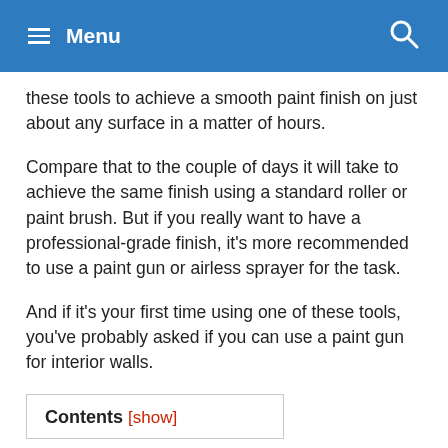Menu
these tools to achieve a smooth paint finish on just about any surface in a matter of hours.
Compare that to the couple of days it will take to achieve the same finish using a standard roller or paint brush. But if you really want to have a professional-grade finish, it’s more recommended to use a paint gun or airless sprayer for the task.
And if it’s your first time using one of these tools, you’ve probably asked if you can use a paint gun for interior walls.
| Contents [show] |
| --- |